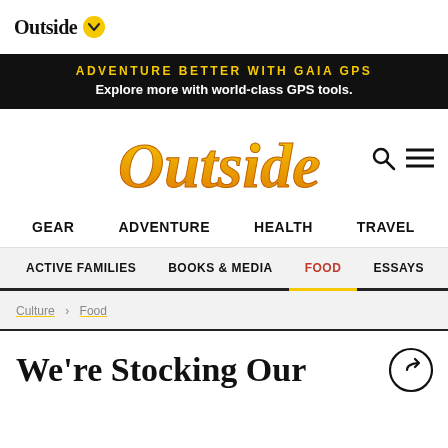Outside
ADVENTURE BETTER WITH GAIA GPS
Explore more with world-class GPS tools.
Outside
GEAR   ADVENTURE   HEALTH   TRAVEL
ACTIVE FAMILIES   BOOKS & MEDIA   FOOD   ESSAYS   LO...
Culture > Food
We're Stocking Our